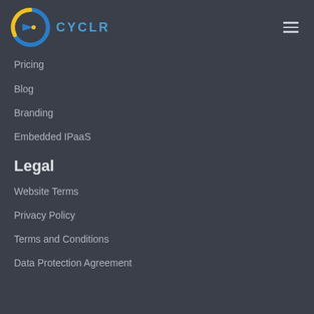CYCLR
Pricing
Blog
Branding
Embedded IPaaS
Legal
Website Terms
Privacy Policy
Terms and Conditions
Data Protection Agreement